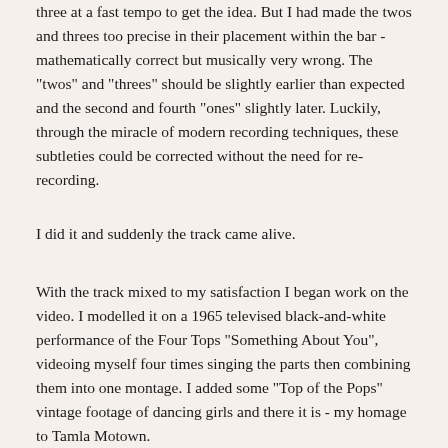three at a fast tempo to get the idea. But I had made the twos and threes too precise in their placement within the bar - mathematically correct but musically very wrong. The "twos" and "threes" should be slightly earlier than expected and the second and fourth "ones" slightly later. Luckily, through the miracle of modern recording techniques, these subtleties could be corrected without the need for re-recording.
I did it and suddenly the track came alive.
With the track mixed to my satisfaction I began work on the video. I modelled it on a 1965 televised black-and-white performance of the Four Tops "Something About You", videoing myself four times singing the parts then combining them into one montage. I added some "Top of the Pops" vintage footage of dancing girls and there it is - my homage to Tamla Motown.